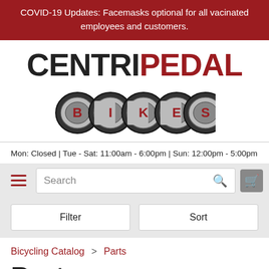COVID-19 Updates: Facemasks optional for all vacinated employees and customers.
[Figure (logo): CentriPedal Bikes logo: CENTRIPEDAL in large bold text (CENTRI in black, PEDAL in red), with BIKES below inside a bicycle chain graphic with circular chain links]
Mon: Closed | Tue - Sat: 11:00am - 6:00pm | Sun: 12:00pm - 5:00pm
Search (search bar with hamburger menu and cart icon)
Filter | Sort
Bicycling Catalog > Parts
Parts